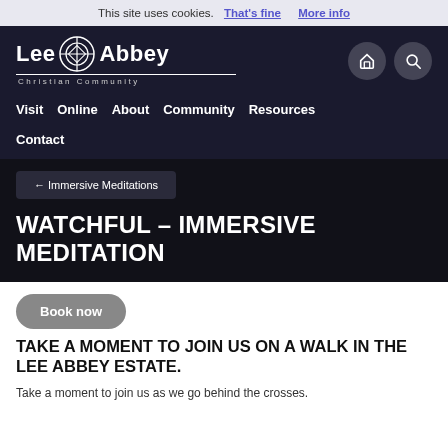This site uses cookies. That's fine  More info
[Figure (logo): Lee Abbey Christian Community logo with Celtic cross emblem, white text on dark background]
Visit
Online
About
Community
Resources
Contact
← Immersive Meditations
WATCHFUL – IMMERSIVE MEDITATION
Book now
TAKE A MOMENT TO JOIN US ON A WALK IN THE LEE ABBEY ESTATE.
Take a moment to join us as we go behind the crosses.